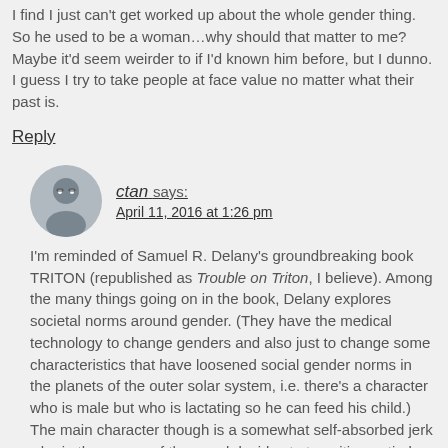I find I just can't get worked up about the whole gender thing. So he used to be a woman…why should that matter to me? Maybe it'd seem weirder to if I'd known him before, but I dunno. I guess I try to take people at face value no matter what their past is.
Reply
[Figure (photo): Circular avatar photo of a person with glasses]
ctan says: April 11, 2016 at 1:26 pm
I'm reminded of Samuel R. Delany's groundbreaking book TRITON (republished as Trouble on Triton, I believe). Among the many things going on in the book, Delany explores societal norms around gender. (They have the medical technology to change genders and also just to change some characteristics that have loosened social gender norms in the planets of the outer solar system, i.e. there's a character who is male but who is lactating so he can feed his child.) The main character though is a somewhat self-absorbed jerk who in the course of the novel decides to transition entirely to female… and the main takeaway I got from the book was that a change in gender didn't change that. In the end the protagonist is still a self-